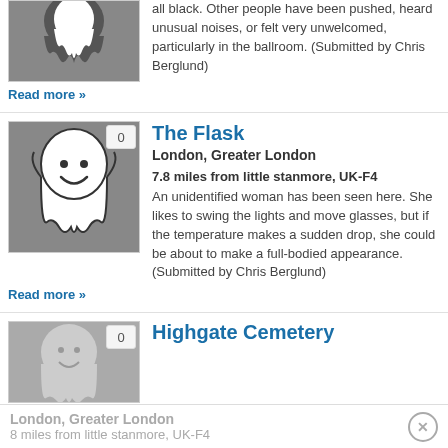[Figure (illustration): Ghost/haunted image thumbnail with dark grey background]
all black. Other people have been pushed, heard unusual noises, or felt very unwelcomed, particularly in the ballroom. (Submitted by Chris Berglund)
Read more »
[Figure (illustration): White cartoon ghost with smile on grey background, with badge showing 0]
The Flask
London, Greater London
7.8 miles from little stanmore, UK-F4
An unidentified woman has been seen here. She likes to swing the lights and move glasses, but if the temperature makes a sudden drop, she could be about to make a full-bodied appearance. (Submitted by Chris Berglund)
Read more »
[Figure (illustration): Cartoon ghost on grey background with badge showing 0]
Highgate Cemetery
London, Greater London
8 miles from little stanmore, UK-F4